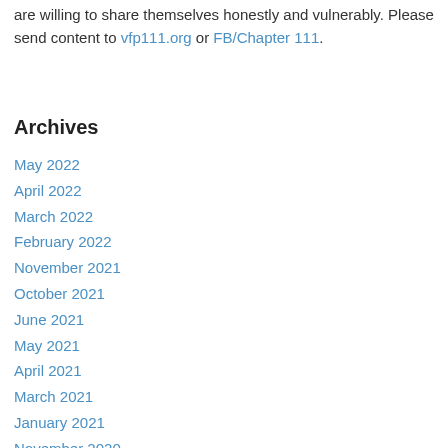are willing to share themselves honestly and vulnerably. Please send content to vfp111.org or FB/Chapter 111.
Archives
May 2022
April 2022
March 2022
February 2022
November 2021
October 2021
June 2021
May 2021
April 2021
March 2021
January 2021
November 2020
August 2020
June 2020